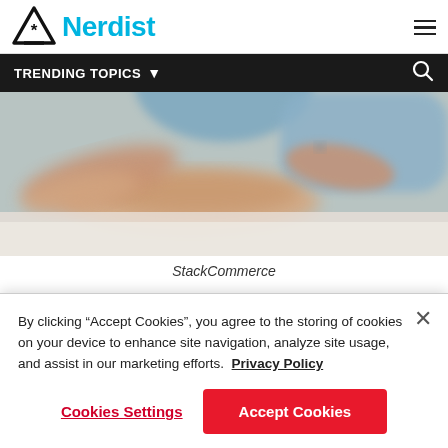Nerdist
TRENDING TOPICS
[Figure (photo): Close-up photo of hands, one hand gently touching another person's arm or hand, blurred medical or therapy setting, blue garment visible in background]
StackCommerce
Get nearly 30 hours of training in American Sign
By clicking “Accept Cookies”, you agree to the storing of cookies on your device to enhance site navigation, analyze site usage, and assist in our marketing efforts.  Privacy Policy